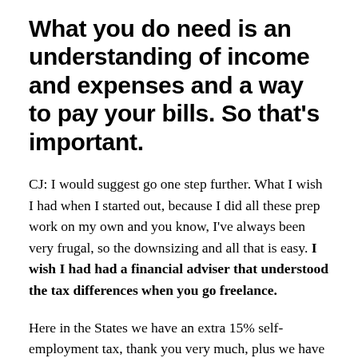What you do need is an understanding of income and expenses and a way to pay your bills. So that's important.
CJ: I would suggest go one step further. What I wish I had when I started out, because I did all these prep work on my own and you know, I've always been very frugal, so the downsizing and all that is easy. I wish I had had a financial adviser that understood the tax differences when you go freelance.
Here in the States we have an extra 15% self-employment tax, thank you very much, plus we have health insurance issues, things like that that